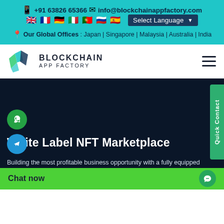+91 63826 65366  info@blockchainappfactory.com
Our Global Offices : Japan | Singapore | Malaysia | Australia | India
[Figure (logo): Blockchain App Factory logo with geometric diamond/chevron icon and text BLOCKCHAIN APP FACTORY]
White Label NFT Marketplace
Building the most profitable business opportunity with a fully equipped White Label NFT marketplace to establish your crypto